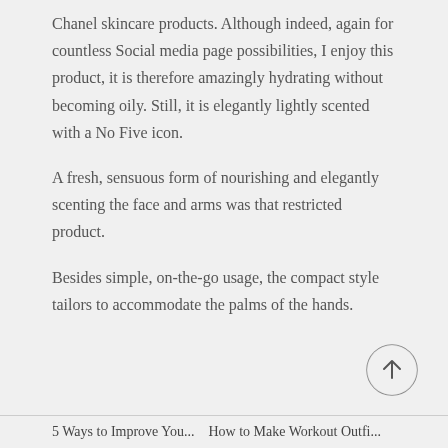Chanel skincare products. Although indeed, again for countless Social media page possibilities, I enjoy this product, it is therefore amazingly hydrating without becoming oily. Still, it is elegantly lightly scented with a No Five icon.
A fresh, sensuous form of nourishing and elegantly scenting the face and arms was that restricted product.
Besides simple, on-the-go usage, the compact style tailors to accommodate the palms of the hands.
[Figure (other): Circular scroll-to-top button with upward arrow icon]
5 Ways to Improve Your ... How to Make Workout...